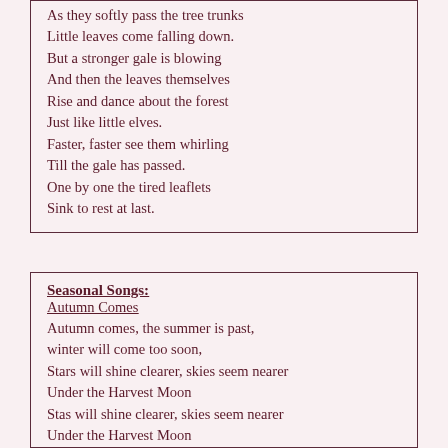As they softly pass the tree trunks
Little leaves come falling down.
But a stronger gale is blowing
And then the leaves themselves
Rise and dance about the forest
Just like little elves.
Faster, faster see them whirling
Till the gale has passed.
One by one the tired leaflets
Sink to rest at last.
Seasonal Songs:
Autumn Comes
Autumn comes, the summer is past,
winter will come too soon,
Stars will shine clearer, skies seem nearer
Under the Harvest Moon
Stas will shine clearer, skies seem nearer
Under the Harvest Moon

Autumn comes, so let us be glad,